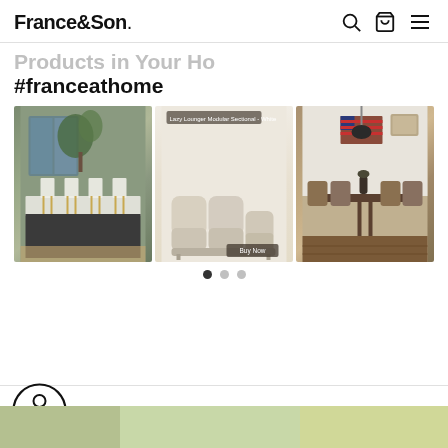France&Son
#franceathome
[Figure (photo): Gallery of three home interior photos: a modern kitchen with bar stools, a modular sofa, and a dining room with wooden chairs. Carousel with dots navigation below.]
[Figure (logo): Accessibility button - circular icon with person symbol]